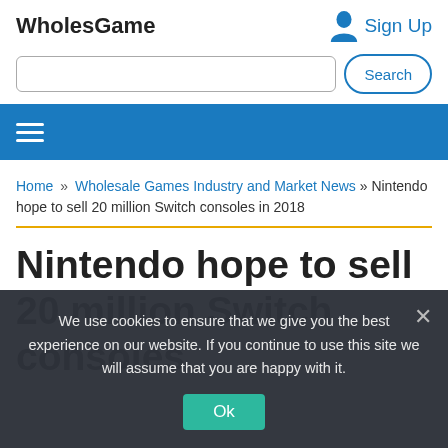WholesGame
Sign Up
Home » Wholesale Games Industry and Market News » Nintendo hope to sell 20 million Switch consoles in 2018
Nintendo hope to sell 20 million Switch consoles
We use cookies to ensure that we give you the best experience on our website. If you continue to use this site we will assume that you are happy with it.